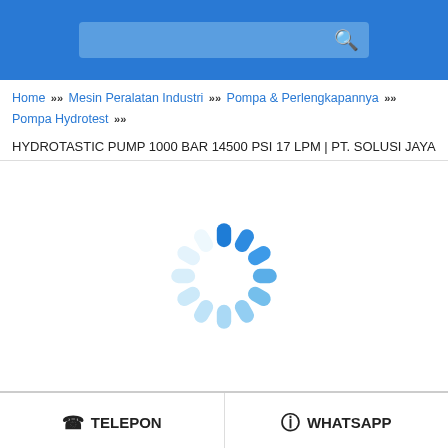[Figure (screenshot): Blue header bar with a search box (lighter blue rectangle with a white search/magnifying glass icon on the right)]
Home » Mesin Peralatan Industri » Pompa & Perlengkapannya » Pompa Hydrotest »
HYDROTASTIC PUMP 1000 BAR 14500 PSI 17 LPM | PT. SOLUSI JAYA
[Figure (illustration): Circular loading spinner animation made of rounded pill shapes in varying shades of blue — dark blue at the top transitioning to light/faded blue at the bottom right]
TELEPON
WHATSAPP
Tambah Keranjang